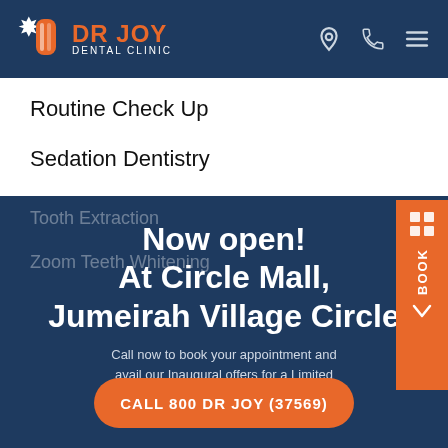DR JOY DENTAL CLINIC
Routine Check Up
Sedation Dentistry
Teeth Whitening
Tooth Extraction
Zoom Teeth Whitening
Now open!
At Circle Mall,
Jumeirah Village Circle
Call now to book your appointment and avail our Inaugural offers for a Limited time only !
CALL 800 DR JOY (37569)